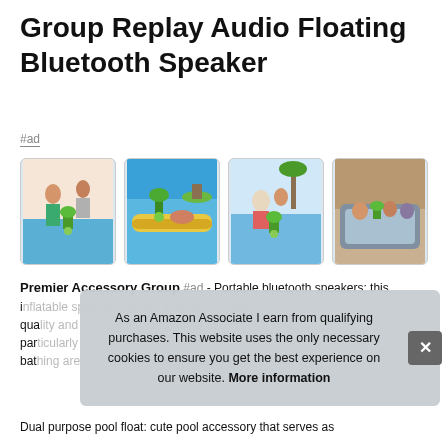Group Replay Audio Floating Bluetooth Speaker
#ad
[Figure (photo): Four product lifestyle photos showing the floating Bluetooth speaker in various pool and water settings]
Premier Accessory Group #ad - Portable bluetooth speakers: this inflatable speaker features premium sound quality ... part ... bath
As an Amazon Associate I earn from qualifying purchases. This website uses the only necessary cookies to ensure you get the best experience on our website. More information
Dual purpose pool float: cute pool accessory that serves as